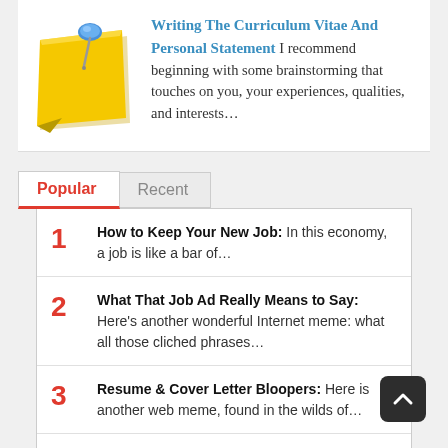[Figure (illustration): Yellow sticky note with blue pushpin icon]
Writing The Curriculum Vitae And Personal Statement I recommend beginning with some brainstorming that touches on you, your experiences, qualities, and interests…
Popular | Recent (tab navigation)
1. How to Keep Your New Job: In this economy, a job is like a bar of…
2. What That Job Ad Really Means to Say: Here's another wonderful Internet meme: what all those cliched phrases…
3. Resume & Cover Letter Bloopers: Here is another web meme, found in the wilds of…
4. Job Interview Attire — for Women: The rules for